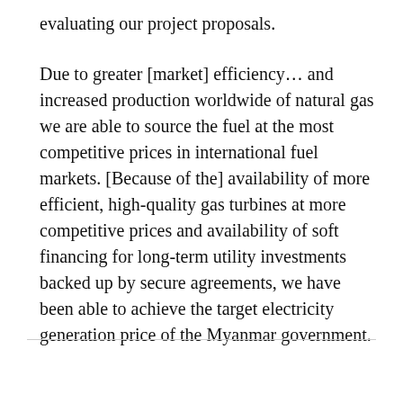evaluating our project proposals.
Due to greater [market] efficiency… and increased production worldwide of natural gas we are able to source the fuel at the most competitive prices in international fuel markets. [Because of the] availability of more efficient, high-quality gas turbines at more competitive prices and availability of soft financing for long-term utility investments backed up by secure agreements, we have been able to achieve the target electricity generation price of the Myanmar government.